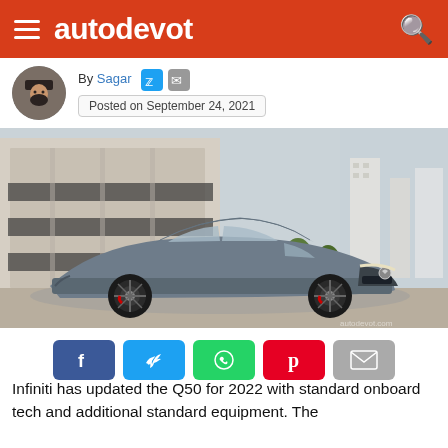autodevot
By Sagar
Posted on September 24, 2021
[Figure (photo): Infiniti Q50 2022 sedan in grey/blue parked in an urban setting with glass building and city skyline in background]
[Figure (infographic): Social sharing buttons: Facebook (blue), Twitter (light blue), WhatsApp (green), Pinterest (red), Email (grey)]
Infiniti has updated the Q50 for 2022 with standard onboard tech and additional standard equipment. The